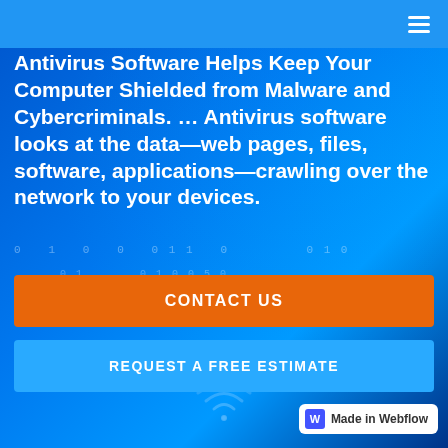navigation bar with hamburger menu icon
Antivirus Software Helps Keep Your Computer Shielded from Malware and Cybercriminals. … Antivirus software looks at the data—web pages, files, software, applications—crawling over the network to your devices.
CONTACT US
REQUEST A FREE ESTIMATE
[Figure (logo): Made in Webflow badge in bottom right corner]